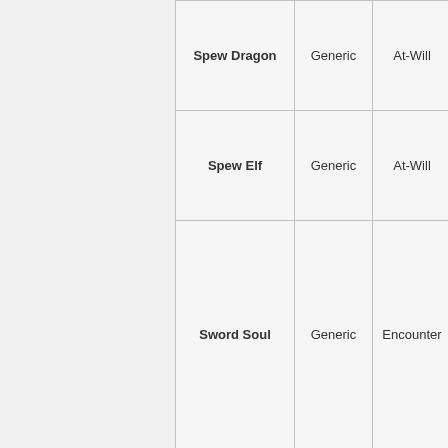| Spew Dragon | Generic | At-Will |
| Spew Elf | Generic | At-Will |
| Sword Soul | Generic | Encounter |
| Summon Bull | Generic | Encounter |